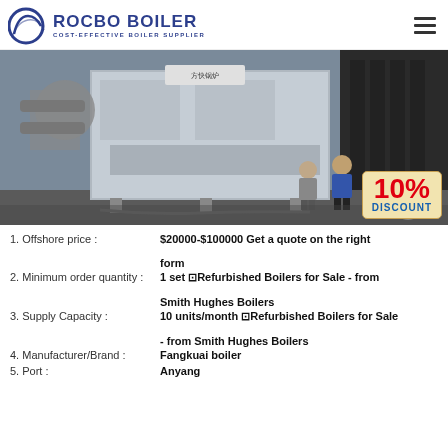[Figure (logo): Rocbo Boiler logo with circular wave icon and text 'ROCBO BOILER / COST-EFFECTIVE BOILER SUPPLIER']
[Figure (photo): Industrial boiler installation photo showing large silver/metallic boiler unit with workers standing nearby, pipe systems on left, industrial building in background. 10% DISCOUNT badge overlaid on bottom right.]
1. Offshore price : $20000-$100000 Get a quote on the right form
2. Minimum order quantity : 1 set ⊡Refurbished Boilers for Sale - from Smith Hughes Boilers
3. Supply Capacity : 10 units/month ⊡Refurbished Boilers for Sale - from Smith Hughes Boilers
4. Manufacturer/Brand : Fangkuai boiler
5. Port : Anyang